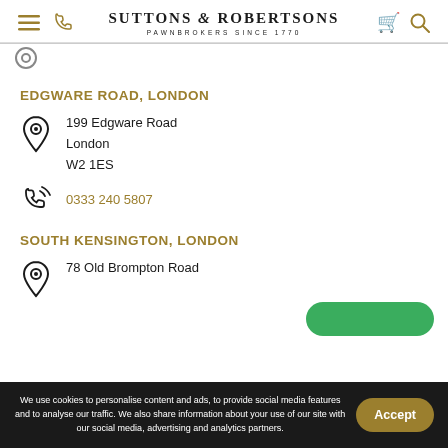Suttons & Robertsons — Pawnbrokers Since 1770
EDGWARE ROAD, LONDON
199 Edgware Road
London
W2 1ES
0333 240 5807
SOUTH KENSINGTON, LONDON
78 Old Brompton Road
We use cookies to personalise content and ads, to provide social media features and to analyse our traffic. We also share information about your use of our site with our social media, advertising and analytics partners.